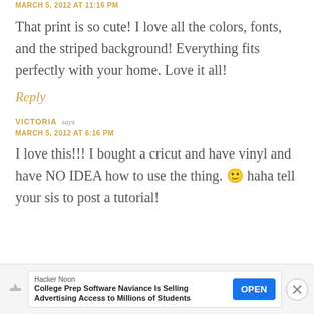MARCH 5, 2012 AT 11:16 PM
That print is so cute! I love all the colors, fonts, and the striped background! Everything fits perfectly with your home. Love it all!
Reply
VICTORIA says
MARCH 5, 2012 AT 6:16 PM
I love this!!! I bought a cricut and have vinyl and have NO IDEA how to use the thing. 🙂 haha tell your sis to post a tutorial!
[Figure (infographic): Advertisement banner: Hacker Noon - College Prep Software Naviance Is Selling Advertising Access to Millions of Students. Blue OPEN button. Close X button.]